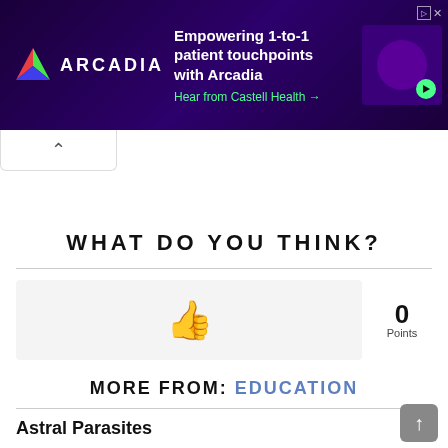[Figure (screenshot): Arcadia advertisement banner with dark purple background. Logo with triangle icon and 'ARCADIA' text, headline 'Empowering 1-to-1 patient touchpoints with Arcadia', subtext 'Hear from Castell Health →', and a person image with play button.]
WHAT DO YOU THINK?
[Figure (infographic): Like/upvote button box (thumbs up icon) with 0 Points displayed to the right.]
MORE FROM: EDUCATION
Astral Parasites
by Caacao • 5 months ago